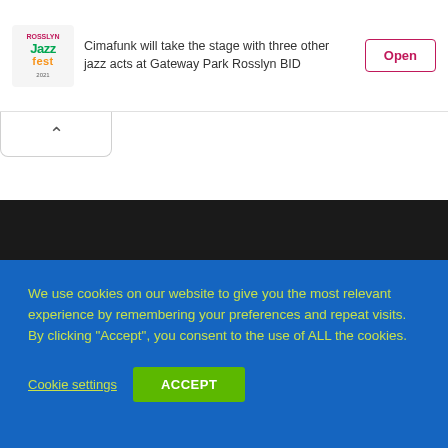[Figure (logo): Rosslyn JazzFest logo with colorful text]
Cimafunk will take the stage with three other jazz acts at Gateway Park Rosslyn BID
Open
We use cookies on our website to give you the most relevant experience by remembering your preferences and repeat visits. By clicking “Accept”, you consent to the use of ALL the cookies.
Cookie settings
ACCEPT